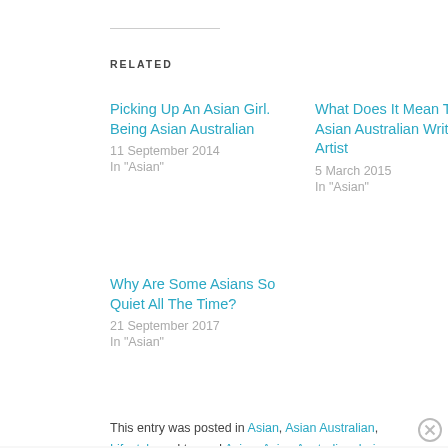RELATED
Picking Up An Asian Girl. Being Asian Australian
11 September 2014
In "Asian"
What Does It Mean To Be An Asian Australian Writer And Artist
5 March 2015
In "Asian"
Why Are Some Asians So Quiet All The Time?
21 September 2017
In "Asian"
This entry was posted in Asian, Asian Australian, Lifestyle and tagged Asian, Asian Australian, being alone, culture, friends, lifestyle, loneliness, Photography by Mabel Kwong. Bookmark
Advertisements
[Figure (photo): Victoria's Secret advertisement banner with model, logo, 'SHOP THE COLLECTION' text, and 'SHOP NOW' button on pink background]